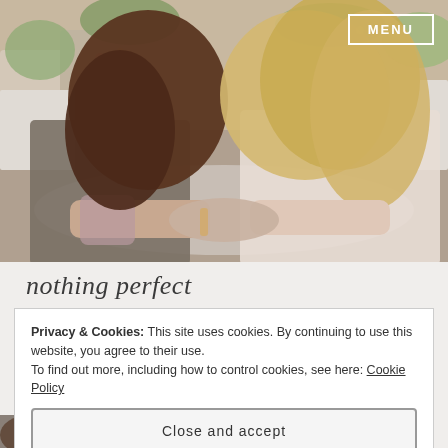[Figure (photo): Two women sitting at a table outdoors, leaning close together. One has dark hair with a tattoo visible on her arm, wearing a dark tank top. The other is blonde, wearing a light top. Background shows an outdoor cafe setting with plants and flowers.]
MENU
nothing perfect
Privacy & Cookies: This site uses cookies. By continuing to use this website, you agree to their use.
To find out more, including how to control cookies, see here: Cookie Policy
Close and accept
[Figure (photo): Partial view of a face, cropped at bottom of page.]